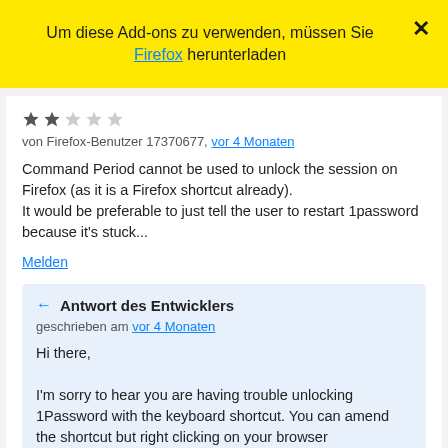Um diese Add-ons zu verwenden, müssen Sie Firefox herunterladen
★★☆☆☆
von Firefox-Benutzer 17370677, vor 4 Monaten
Command Period cannot be used to unlock the session on Firefox (as it is a Firefox shortcut already).
It would be preferable to just tell the user to restart 1password because it's stuck...
Melden
Antwort des Entwicklers
geschrieben am vor 4 Monaten
Hi there,

I'm sorry to hear you are having trouble unlocking 1Password with the keyboard shortcut. You can amend the shortcut but right clicking on your browser